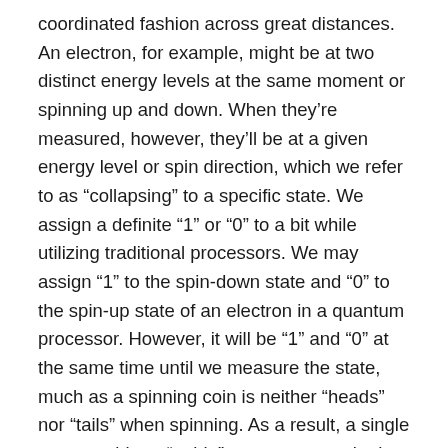coordinated fashion across great distances. An electron, for example, might be at two distinct energy levels at the same moment or spinning up and down. When they're measured, however, they'll be at a given energy level or spin direction, which we refer to as “collapsing” to a specific state. We assign a definite “1” or “0” to a bit while utilizing traditional processors. We may assign “1” to the spin-down state and “0” to the spin-up state of an electron in a quantum processor. However, it will be “1” and “0” at the same time until we measure the state, much as a spinning coin is neither “heads” nor “tails” when spinning. As a result, a single quantum bit, or “qubit,” may represent both “1” and “0” at the same time, unlike a traditional processor’s “bit,” which can only represent “1” or “0” at any one moment. The bit is binary and point-like, but the qubit is “space-like” and “fuzzy,” allowing